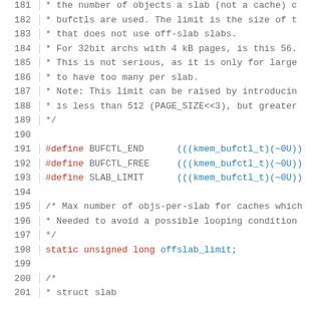181  * the number of objects a slab (not a cache) c
182  * bufctls are used. The limit is the size of t
183  * that does not use off-slab slabs.
184  * For 32bit archs with 4 kB pages, is this 56.
185  * This is not serious, as it is only for large
186  * to have too many per slab.
187  * Note: This limit can be raised by introducin
188  * is less than 512 (PAGE_SIZE<<3), but greater
189  */
190
191  #define BUFCTL_END      (((kmem_bufctl_t)(~0U))
192  #define BUFCTL_FREE     (((kmem_bufctl_t)(~0U))
193  #define SLAB_LIMIT      (((kmem_bufctl_t)(~0U))
194
195  /* Max number of objs-per-slab for caches which
196  * Needed to avoid a possible looping condition
197  */
198  static unsigned long offslab_limit;
199
200  /*
201  * struct slab